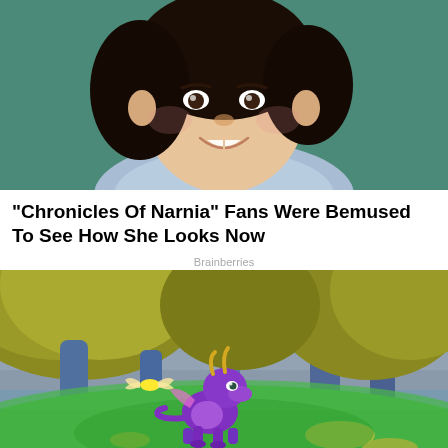[Figure (photo): Close-up photo of a young child with dark curly hair, smiling, wearing a light blue top, against a teal/green background]
"Chronicles Of Narnia" Fans Were Bemused To See How She Looks Now
Brainberries
[Figure (screenshot): Screenshot from the Spyro the Dragon video game showing the purple dragon character on a green grassy area with large yellow-foliage trees and blue tree trunks in the background]
7 Games You Love That Got Bad Reviews